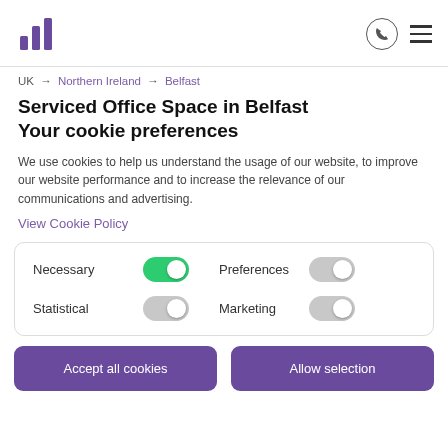Logo and navigation header
UK → Northern Ireland → Belfast
Serviced Office Space in Belfast
Your cookie preferences
We use cookies to help us understand the usage of our website, to improve our website performance and to increase the relevance of our communications and advertising.
View Cookie Policy
| Option | Toggle |
| --- | --- |
| Necessary | ON |
| Statistical | OFF |
| Preferences | OFF |
| Marketing | OFF |
Accept all cookies
Allow selection